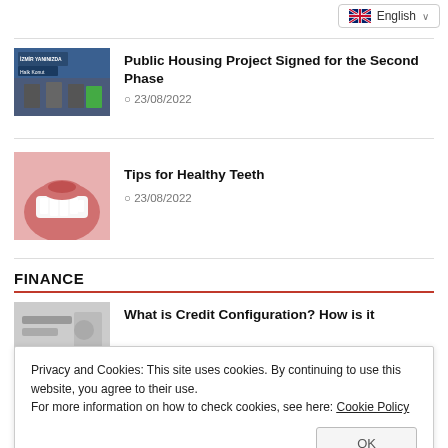[Figure (screenshot): English language selector dropdown at top right]
[Figure (photo): Press conference photo with İZMİR YANINIZDA / Halk Konut banner]
Public Housing Project Signed for the Second Phase
23/08/2022
[Figure (photo): Close-up photo of teeth/smile]
Tips for Healthy Teeth
23/08/2022
FINANCE
[Figure (photo): Partial photo related to credit/finance]
What is Credit Configuration? How is it
Privacy and Cookies: This site uses cookies. By continuing to use this website, you agree to their use.
For more information on how to check cookies, see here: Cookie Policy
OK
[Figure (photo): Partial bottom photo]